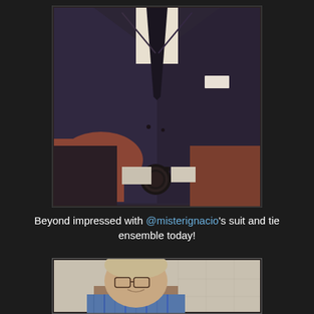[Figure (photo): Close-up photo of a man's torso wearing a dark charcoal suit with a black tie and white dress shirt. A white pocket square is visible in the breast pocket. The man's arms are crossed, showing a watch on the wrist with white shirt cuffs visible.]
Beyond impressed with @misterignacio's suit and tie ensemble today!
[Figure (photo): Photo of a man with glasses wearing a blue plaid/checked shirt, shown from shoulders up, standing in front of a light-colored tiled wall.]